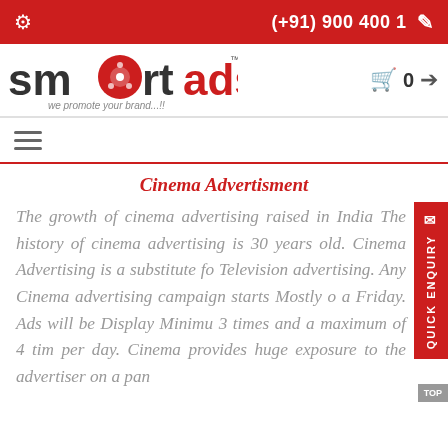(+91) 900 400 1
[Figure (logo): SmartAds logo with film reel icon and tagline 'we promote your brand...!!']
Cinema Advertisment
The growth of cinema advertising raised in India The history of cinema advertising is 30 years old. Cinema Advertising is a substitute for Television advertising. Any Cinema advertising campaign starts Mostly on a Friday. Ads will be Display Minimum 3 times and a maximum of 4 times per day. Cinema provides huge exposure to the advertiser on a pan